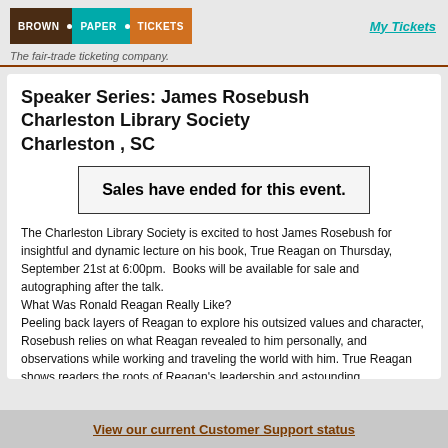[Figure (logo): Brown Paper Tickets logo with three colored blocks: brown, teal, orange]
My Tickets
The fair-trade ticketing company.
Speaker Series: James Rosebush
Charleston Library Society
Charleston , SC
Sales have ended for this event.
The Charleston Library Society is excited to host James Rosebush for insightful and dynamic lecture on his book, True Reagan on Thursday, September 21st at 6:00pm.  Books will be available for sale and autographing after the talk.
What Was Ronald Reagan Really Like?
Peeling back layers of Reagan to explore his outsized values and character, Rosebush relies on what Reagan revealed to him personally, and observations while working and traveling the world with him. True Reagan shows readers the roots of Reagan's leadership and astounding communication skills, so that we might apply them to global challenges
View our current Customer Support status